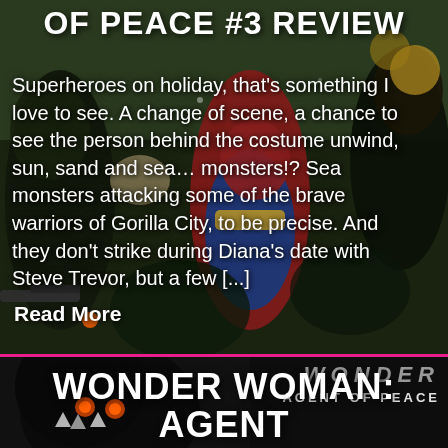OF PEACE #3 REVIEW
Superheroes on holiday, that’s something I love to see. A change of scene, a chance to see the person behind the costume unwind, sun, sand and sea… monsters!? Sea monsters attacking some of the brave warriors of Gorilla City, to be precise. And they don’t strike during Diana’s date with Steve Trevor, but a few […]
Read More
[Figure (illustration): Comic book artwork showing superhero characters in action poses, with a female hero in red/blue/gold costume in the center]
AGENT OF PEACE
WONDER WOMAN: AGENT